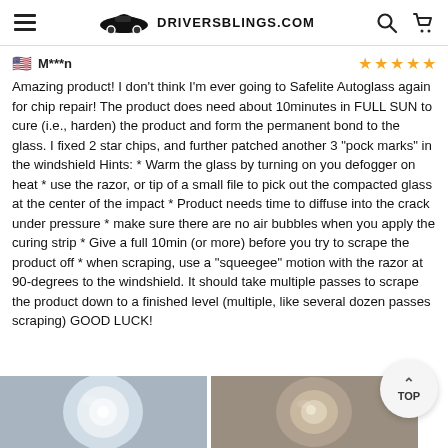DRIVERSBLINGS.COM
M***n
Amazing product! I don't think I'm ever going to Safelite Autoglass again for chip repair! The product does need about 10minutes in FULL SUN to cure (i.e., harden) the product and form the permanent bond to the glass. I fixed 2 star chips, and further patched another 3 "pock marks" in the windshield Hints: * Warm the glass by turning on you defogger on heat * use the razor, or tip of a small file to pick out the compacted glass at the center of the impact * Product needs time to diffuse into the crack under pressure * make sure there are no air bubbles when you apply the curing strip * Give a full 10min (or more) before you try to scrape the product off * when scraping, use a "squeegee" motion with the razor at 90-degrees to the windshield. It should take multiple passes to scrape the product down to a finished level (multiple, like several dozen passes scraping) GOOD LUCK!
[Figure (photo): Close-up photo of a windshield chip repair, whitish circular area]
[Figure (photo): Close-up photo of a windshield chip repair area]